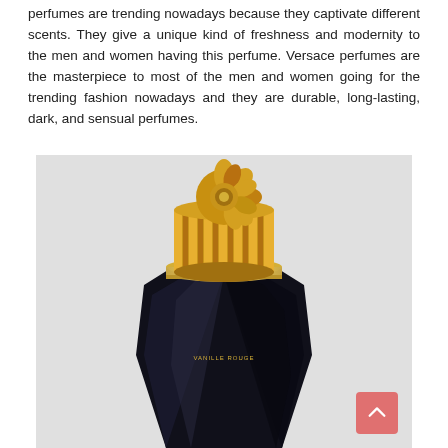perfumes are trending nowadays because they captivate different scents. They give a unique kind of freshness and modernity to the men and women having this perfume. Versace perfumes are the masterpiece to most of the men and women going for the trending fashion nowadays and they are durable, long-lasting, dark, and sensual perfumes.
[Figure (photo): A luxury perfume bottle with a black faceted glass base labeled 'VANILLE ROUGE' and an ornate gold cylindrical cap with decorative floral Medusa head on top, photographed against a light grey background.]